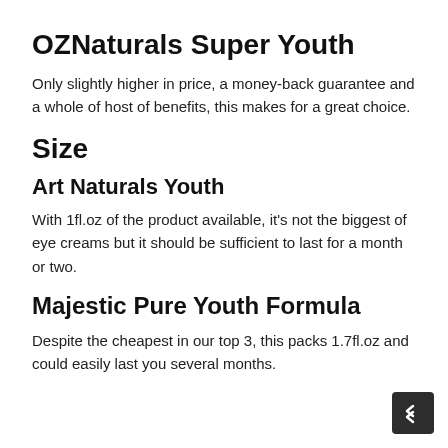OZNaturals Super Youth
Only slightly higher in price, a money-back guarantee and a whole of host of benefits, this makes for a great choice.
Size
Art Naturals Youth
With 1fl.oz of the product available, it's not the biggest of eye creams but it should be sufficient to last for a month or two.
Majestic Pure Youth Formula
Despite the cheapest in our top 3, this packs 1.7fl.oz and could easily last you several months.